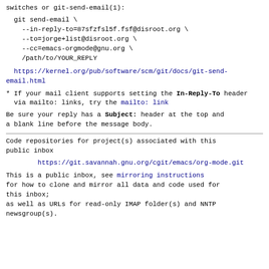switches or git-send-email(1):
git send-email \
    --in-reply-to=87sfzfsl5f.fsf@disroot.org \
    --to=jorge+list@disroot.org \
    --cc=emacs-orgmode@gnu.org \
    /path/to/YOUR_REPLY
https://kernel.org/pub/software/scm/git/docs/git-send-email.html
* If your mail client supports setting the In-Reply-To header
  via mailto: links, try the mailto: link
Be sure your reply has a Subject: header at the top and a blank line before the message body.
Code repositories for project(s) associated with this public inbox
https://git.savannah.gnu.org/cgit/emacs/org-mode.git
This is a public inbox, see mirroring instructions
for how to clone and mirror all data and code used for this inbox;
as well as URLs for read-only IMAP folder(s) and NNTP newsgroup(s).